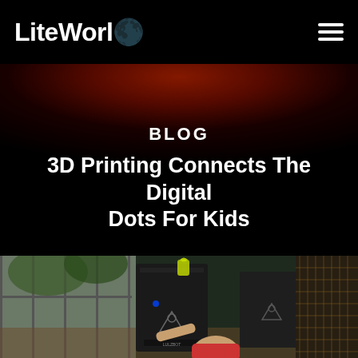LiteWorld
BLOG
3D Printing Connects The Digital Dots For Kids
[Figure (photo): Children and adult using LulzBot 3D printers in a bright room with large windows. A child reaches toward the printer while an adult in a patterned jacket stands nearby. Yellow filament visible on top of one printer.]